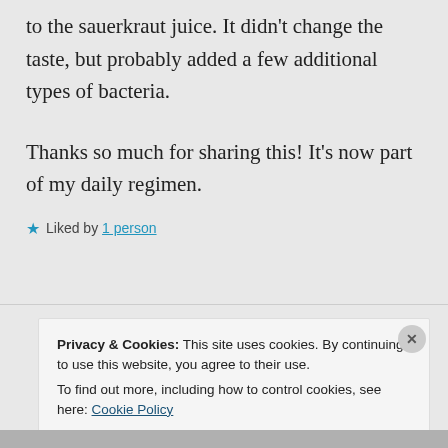to the sauerkraut juice. It didn't change the taste, but probably added a few additional types of bacteria.

Thanks so much for sharing this! It's now part of my daily regimen.
★ Liked by 1 person
Privacy & Cookies: This site uses cookies. By continuing to use this website, you agree to their use.
To find out more, including how to control cookies, see here: Cookie Policy
Close and accept